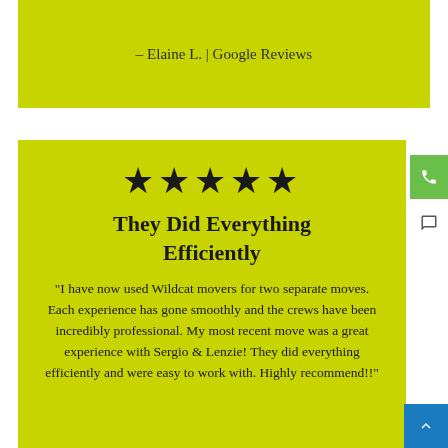– Elaine L. | Google Reviews
[Figure (other): Five black star rating icons in a row]
They Did Everything Efficiently
"I have now used Wildcat movers for two separate moves. Each experience has gone smoothly and the crews have been incredibly professional. My most recent move was a great experience with Sergio & Lenzie! They did everything efficiently and were easy to work with. Highly recommend!!"